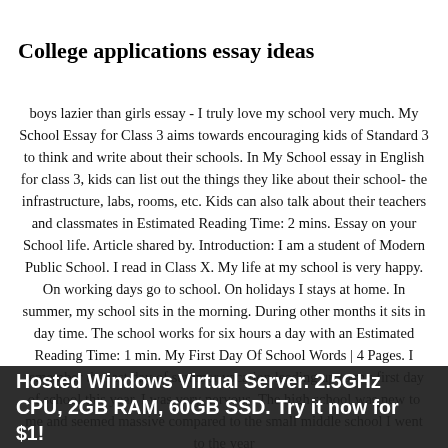College applications essay ideas
boys lazier than girls essay - I truly love my school very much. My School Essay for Class 3 aims towards encouraging kids of Standard 3 to think and write about their schools. In My School essay in English for class 3, kids can list out the things they like about their school- the infrastructure, labs, rooms, etc. Kids can also talk about their teachers and classmates in Estimated Reading Time: 2 mins. Essay on your School life. Article shared by. Introduction: I am a student of Modern Public School. I read in Class X. My life at my school is very happy. On working days go to school. On holidays I stays at home. In summer, my school sits in the morning. During other months it sits in day time. The school works for six hours a day with an Estimated Reading Time: 1 min. My First Day Of School Words | 4 Pages. I remember the last day of summer vacation leading up to my first day of school this year. I was very nervous. The high school was new to me and seemed massive compared to the small middle school I went to the year
Hosted Windows Virtual Server. 2.5GHz CPU, 2GB RAM, 60GB SSD. Try it now for $1!